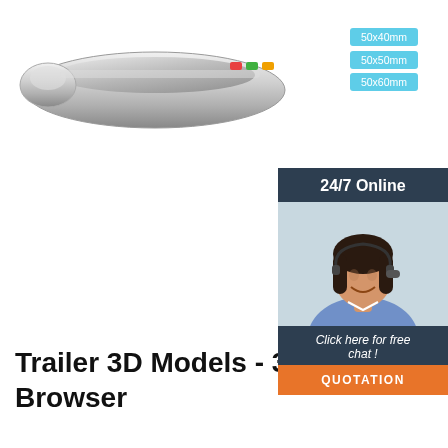[Figure (photo): Chrome trailer hitch or tow bar product photo, partially visible, silver metallic finish]
50x40mm
50x50mm
50x60mm
[Figure (photo): 24/7 Online chat widget showing a smiling woman with a headset. Includes 'Click here for free chat!' text and an orange QUOTATION button.]
Trailer 3D Models - 3D CAD Browser
Trailer 160 Gallon Tank. Trailer 18 Wheeler. Trailer 1x-Axis. Trailer 2 Axle. Trailer 20 fe... [CAD] Trailer 22inch Wells Cargo. Trailer 3... Flatbed [CAD] Trailer 3 Axle. Trailer 4 Axle...
Get Price